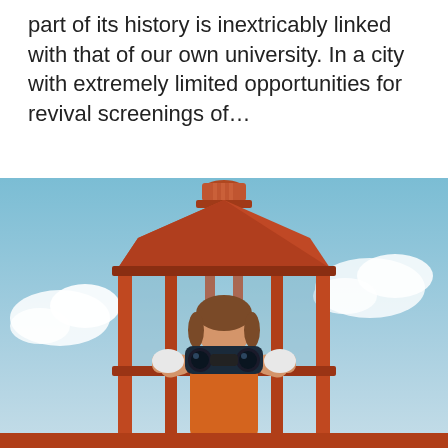part of its history is inextricably linked with that of our own university. In a city with extremely limited opportunities for revival screenings of…
[Figure (photo): A young girl wearing an orange dress with a white collar looks through binoculars. She is standing inside a red octagonal gazebo or lookout tower structure. The background shows a blue sky with white clouds.]